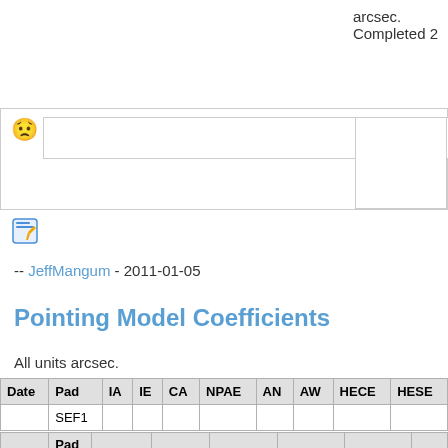arcsec. Completed 2
-- JeffMangum - 2011-01-05
Pointing Model Coefficients
All units arcsec.
| Date | Pad | IA | IE | CA | NPAE | AN | AW | HECE | HESE |
| --- | --- | --- | --- | --- | --- | --- | --- | --- | --- |
|  | SEF1 |  |  |  |  |  |  |  |  |
| Date | Pad | HACA | HASA | HACA2 | HASA2 | HECA2 | HE... |
| --- | --- | --- | --- | --- | --- | --- | --- |
|  | SEF1 |  |  |  |  |  |  |